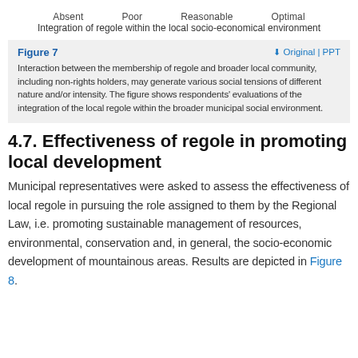Absent    Poor    Reasonable    Optimal
Integration of regole within the local socio-economical environment
Figure 7   ⬇ Original | PPT
Interaction between the membership of regole and broader local community, including non-rights holders, may generate various social tensions of different nature and/or intensity. The figure shows respondents' evaluations of the integration of the local regole within the broader municipal social environment.
4.7. Effectiveness of regole in promoting local development
Municipal representatives were asked to assess the effectiveness of local regole in pursuing the role assigned to them by the Regional Law, i.e. promoting sustainable management of resources, environmental, conservation and, in general, the socio-economic development of mountainous areas. Results are depicted in Figure 8.